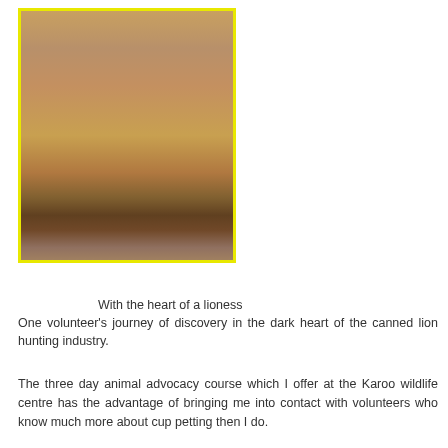[Figure (photo): A photograph with a yellow border showing a lioness or large cat hanging upside down being held up, with people and equipment visible in the background in what appears to be an indoor facility.]
With the heart of a lioness
One volunteer's journey of discovery in the dark heart of the canned lion hunting industry.
The three day animal advocacy course which I offer at the Karoo wildlife centre has the advantage of bringing me into contact with volunteers who know much more about cup petting then I do.